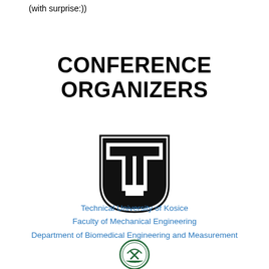(with surprise:))
CONFERENCE ORGANIZERS
[Figure (logo): Technical University of Kosice shield-shaped logo in black and white, featuring a stylized T-U letter mark inside a shield outline]
Technical University of Kosice
Faculty of Mechanical Engineering
Department of Biomedical Engineering and Measurement
[Figure (logo): Small circular institutional seal/crest with green border, year 1848, featuring crossed tools/hammers in the center]